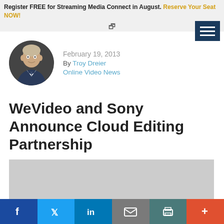Register FREE for Streaming Media Connect in August. Reserve Your Seat NOW!
[Figure (photo): Author photo of Troy Dreier, circular crop, man in suit]
February 19, 2013
By Troy Dreier
Online Video News
WeVideo and Sony Announce Cloud Editing Partnership
[Figure (photo): Gray placeholder image for article content]
Social sharing bar: Facebook, Twitter, LinkedIn, Email, Print, More